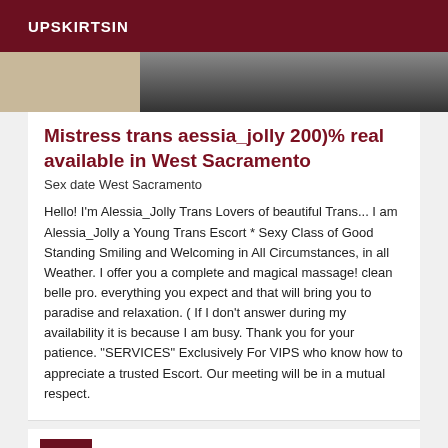UPSKIRTSIN
[Figure (photo): Partial photo showing a person standing near a granite countertop, visible from waist down, wearing black clothing.]
Mistress trans aessia_jolly 200)% real available in West Sacramento
Sex date West Sacramento
Hello! I'm Alessia_Jolly Trans Lovers of beautiful Trans... I am Alessia_Jolly a Young Trans Escort * Sexy Class of Good Standing Smiling and Welcoming in All Circumstances, in all Weather. I offer you a complete and magical massage! clean belle pro. everything you expect and that will bring you to paradise and relaxation. ( If I don't answer during my availability it is because I am busy. Thank you for your patience. "SERVICES" Exclusively For VIPS who know how to appreciate a trusted Escort. Our meeting will be in a mutual respect.
VIP